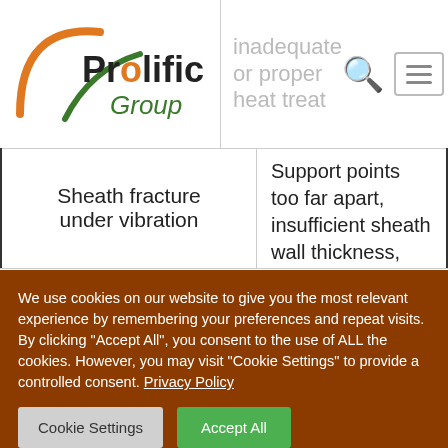inadequate or proper heat treat
[Figure (logo): Prolific Group logo with orange arc and green swoosh]
| Sheath fracture under vibration | Support points too far apart, insufficient sheath wall thickness, brittle sheath due to inadequate or improper heat treat, |
We use cookies on our website to give you the most relevant experience by remembering your preferences and repeat visits. By clicking "Accept All", you consent to the use of ALL the cookies. However, you may visit "Cookie Settings" to provide a controlled consent. Privacy Policy
Cookie Settings | Accept All